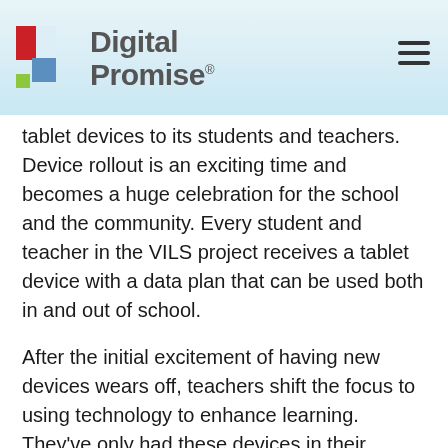[Figure (logo): Digital Promise logo with colorful geometric shapes (red, blue, green) and bold gray text reading 'Digital Promise' with registered trademark symbol]
tablet devices to its students and teachers. Device rollout is an exciting time and becomes a huge celebration for the school and the community. Every student and teacher in the VILS project receives a tablet device with a data plan that can be used both in and out of school.
After the initial excitement of having new devices wears off, teachers shift the focus to using technology to enhance learning. They've only had these devices in their classrooms for a few weeks, but teachers are already using them